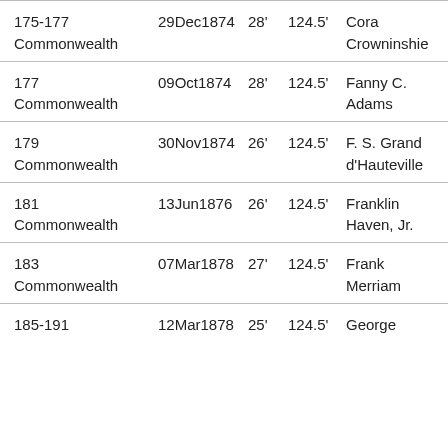| Address | Date | Width | Depth | Owner |
| --- | --- | --- | --- | --- |
| 175-177 Commonwealth | 29Dec1874 | 28' | 124.5' | Cora Crowninshie[ld] |
| 177 Commonwealth | 09Oct1874 | 28' | 124.5' | Fanny C. Adams |
| 179 Commonwealth | 30Nov1874 | 26' | 124.5' | F. S. Grand d'Hauteville |
| 181 Commonwealth | 13Jun1876 | 26' | 124.5' | Franklin Haven, Jr. |
| 183 Commonwealth | 07Mar1878 | 27' | 124.5' | Frank Merriam |
| 185-191 Commonwealth | 12Mar1878 | 25' | 124.5' | George |